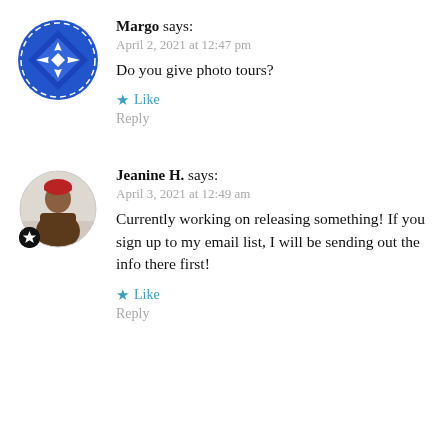[Figure (illustration): Blue geometric circular avatar with diamond/star pattern for user Margo]
Margo says:
April 2, 2021 at 12:47 pm
Do you give photo tours?
★ Like
Reply
[Figure (photo): Circular photo avatar of Jeanine H., person wearing red hat and brown coat, with a black badge showing a star]
Jeanine H. says:
April 3, 2021 at 12:49 am
Currently working on releasing something! If you sign up to my email list, I will be sending out the info there first!
★ Like
Reply